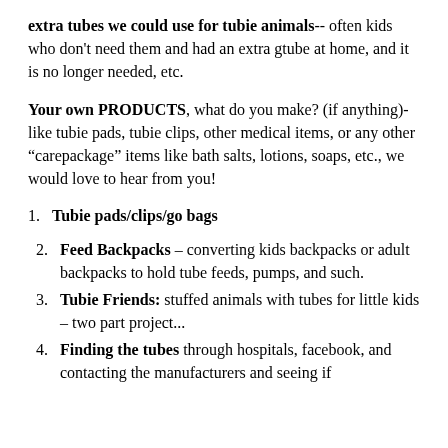extra tubes we could use for tubie animals-- often kids who don't need them and had an extra gtube at home, and it is no longer needed, etc.
Your own PRODUCTS, what do you make? (if anything)- like tubie pads, tubie clips, other medical items, or any other "carepackage" items like bath salts, lotions, soaps, etc., we would love to hear from you!
1. Tubie pads/clips/go bags
2. Feed Backpacks – converting kids backpacks or adult backpacks to hold tube feeds, pumps, and such.
3. Tubie Friends: stuffed animals with tubes for little kids – two part project...
4. Finding the tubes through hospitals, facebook, and contacting the manufacturers and seeing if